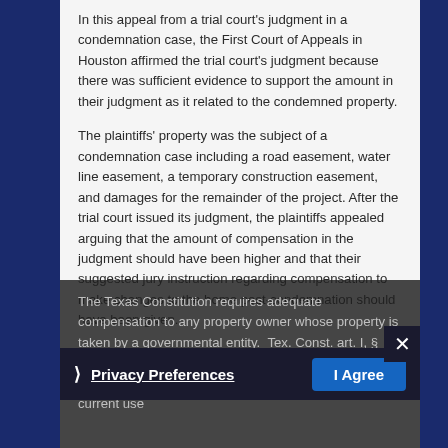In this appeal from a trial court's judgment in a condemnation case, the First Court of Appeals in Houston affirmed the trial court's judgment because there was sufficient evidence to support the amount in their judgment as it related to the condemned property.
The plaintiffs' property was the subject of a condemnation case including a road easement, water line easement, a temporary construction easement, and damages for the remainder of the project. After the trial court issued its judgment, the plaintiffs appealed arguing that the amount of compensation in the judgment should have been higher and that their suggested jury instruction regarding compensation to make changes to the home post-condemnation should have been given.
The Texas Constitution requires adequate compensation to any property owner whose property is taken by a governmental entity. Tex. Const. art. I, § 17(a). This value is determined by market value on the date of the taking which can take into account both the current use